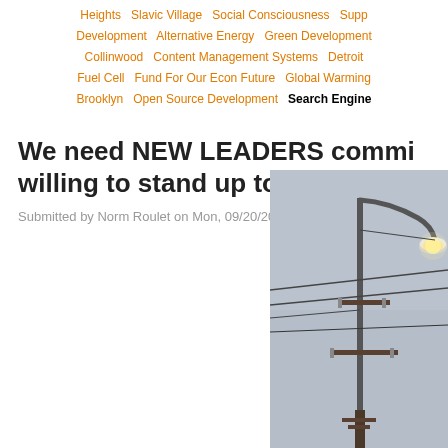Heights  Slavic Village  Social Consciousness  Supp Development  Alternative Energy  Green Development Collinwood  Content Management Systems  Detroit Fuel Cell  Fund For Our Econ Future  Global Warming Brooklyn  Open Source Development  Search Engine
We need NEW LEADERS commi willing to stand up to the big pol
Submitted by Norm Roulet on Mon, 09/20/2010 - 11:04.
[Figure (photo): Photograph of a street lamp and utility pole against a gray overcast sky. The lamp is illuminated, glowing orange-white. Utility wires extend from the pole.]